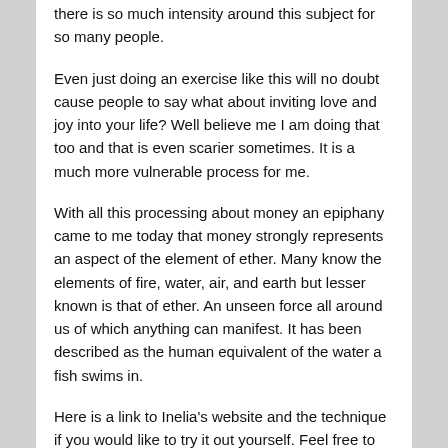there is so much intensity around this subject for so many people.
Even just doing an exercise like this will no doubt cause people to say what about inviting love and joy into your life? Well believe me I am doing that too and that is even scarier sometimes. It is a much more vulnerable process for me.
With all this processing about money an epiphany came to me today that money strongly represents an aspect of the element of ether. Many know the elements of fire, water, air, and earth but lesser known is that of ether. An unseen force all around us of which anything can manifest. It has been described as the human equivalent of the water a fish swims in.
Here is a link to Inelia's website and the technique if you would like to try it out yourself. Feel free to share your experience with me if you like.
I will add that each day I do this I notice something